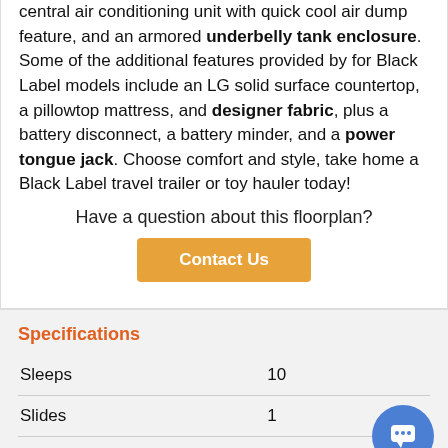central air conditioning unit with quick cool air dump feature, and an armored underbelly tank enclosure. Some of the additional features provided by for Black Label models include an LG solid surface countertop, a pillowtop mattress, and designer fabric, plus a battery disconnect, a battery minder, and a power tongue jack. Choose comfort and style, take home a Black Label travel trailer or toy hauler today!
Have a question about this floorplan?
Contact Us
Specifications
|  |  |
| --- | --- |
| Sleeps | 10 |
| Slides | 1 |
| Length | 32 ft 7 in |